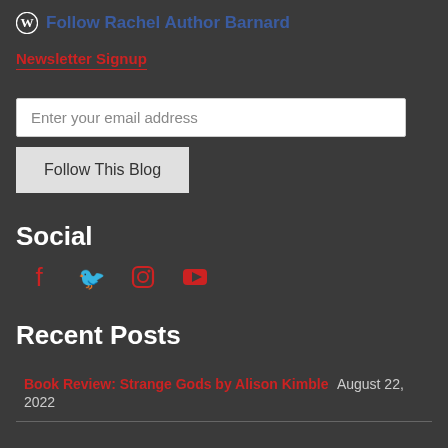Follow Rachel Author Barnard
Newsletter Signup
Enter your email address
Follow This Blog
Social
[Figure (infographic): Row of four social media icons in red: Facebook, Twitter, Instagram, YouTube]
Recent Posts
Book Review: Strange Gods by Alison Kimble   August 22, 2022